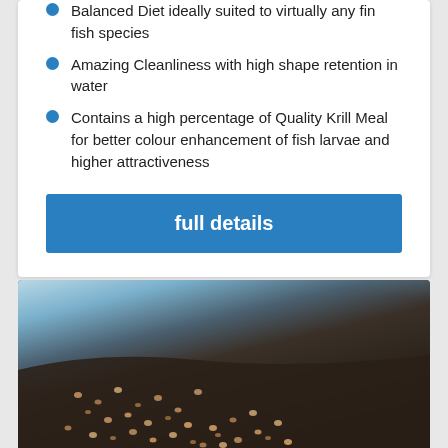Balanced Diet ideally suited to virtually any fin fish species
Amazing Cleanliness with high shape retention in water
Contains a high percentage of Quality Krill Meal for better colour enhancement of fish larvae and higher attractiveness
full details
[Figure (photo): Close-up macro photograph of small fish feed pellets/granules scattered on a dark surface, with a blurred metallic or curved container edge visible in the upper portion]